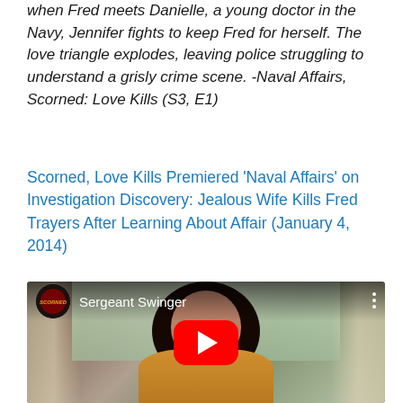when Fred meets Danielle, a young doctor in the Navy, Jennifer fights to keep Fred for herself. The love triangle explodes, leaving police struggling to understand a grisly crime scene. -Naval Affairs, Scorned: Love Kills (S3, E1)
Scorned, Love Kills Premiered 'Naval Affairs' on Investigation Discovery: Jealous Wife Kills Fred Trayers After Learning About Affair (January 4, 2014)
[Figure (screenshot): YouTube video thumbnail showing a woman with long dark hair wearing a gold/mustard top, with the video title 'Sergeant Swinger' and a Scorned channel logo, and a red YouTube play button overlay in the center.]